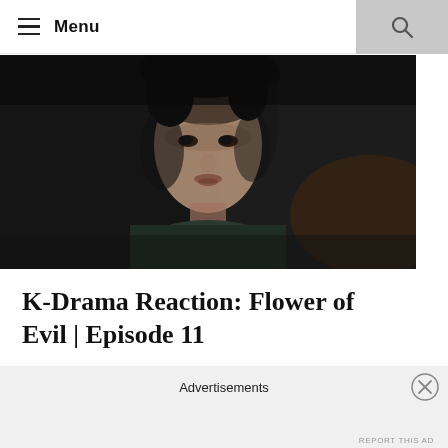Menu
[Figure (photo): Dark cinematic still from K-Drama 'Flower of Evil' showing a young man's face in low-light setting, looking upward with a serious expression, wearing dark clothing]
K-Drama Reaction: Flower of Evil | Episode 11
September 6, 2020
Advertisements